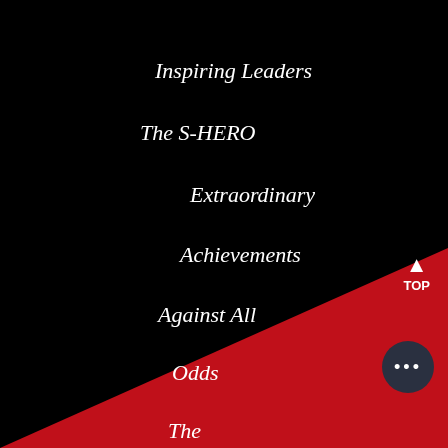Inspiring Leaders
The S-HERO
Extraordinary
Achievements
Against All
Odds
The
Relatable
Chase Your Dreams
Lesson Learned
Unexplored